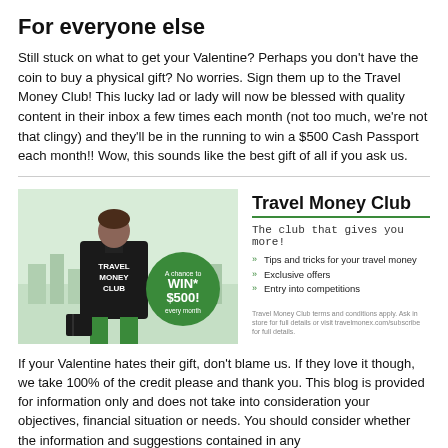For everyone else
Still stuck on what to get your Valentine? Perhaps you don't have the coin to buy a physical gift? No worries. Sign them up to the Travel Money Club! This lucky lad or lady will now be blessed with quality content in their inbox a few times each month (not too much, we're not that clingy) and they'll be in the running to win a $500 Cash Passport each month!! Wow, this sounds like the best gift of all if you ask us.
[Figure (illustration): Promotional banner for Travel Money Club showing a man wearing a black Travel Money Club jacket from behind, with a green circle badge saying 'A chance to WIN* $500! every month'. Right side shows Travel Money Club branding with tagline 'The club that gives you more!' and bullet points listing benefits.]
If your Valentine hates their gift, don't blame us. If they love it though, we take 100% of the credit please and thank you. This blog is provided for information only and does not take into consideration your objectives, financial situation or needs. You should consider whether the information and suggestions contained in any